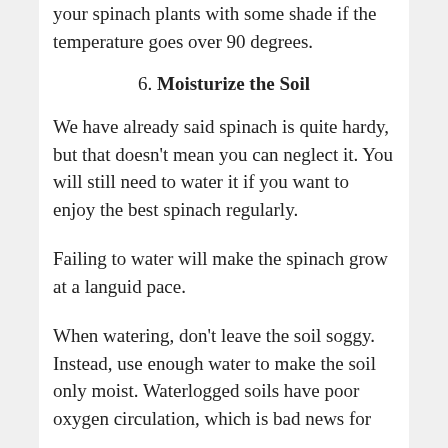your spinach plants with some shade if the temperature goes over 90 degrees.
6. Moisturize the Soil
We have already said spinach is quite hardy, but that doesn't mean you can neglect it. You will still need to water it if you want to enjoy the best spinach regularly.
Failing to water will make the spinach grow at a languid pace.
When watering, don't leave the soil soggy. Instead, use enough water to make the soil only moist. Waterlogged soils have poor oxygen circulation, which is bad news for